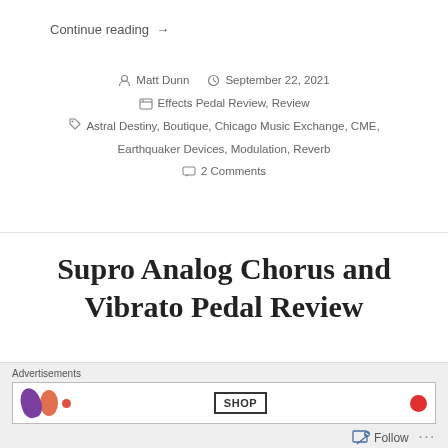Continue reading →
Matt Dunn   September 22, 2021
Effects Pedal Review, Review
Astral Destiny, Boutique, Chicago Music Exchange, CME, Earthquaker Devices, Modulation, Reverb
2 Comments
Supro Analog Chorus and Vibrato Pedal Review
Advertisements
SHOP
Follow